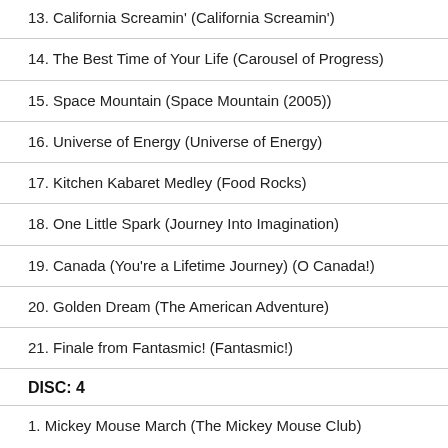13. California Screamin' (California Screamin')
14. The Best Time of Your Life (Carousel of Progress)
15. Space Mountain (Space Mountain (2005))
16. Universe of Energy (Universe of Energy)
17. Kitchen Kabaret Medley (Food Rocks)
18. One Little Spark (Journey Into Imagination)
19. Canada (You're a Lifetime Journey) (O Canada!)
20. Golden Dream (The American Adventure)
21. Finale from Fantasmic! (Fantasmic!)
DISC: 4
1. Mickey Mouse March (The Mickey Mouse Club)